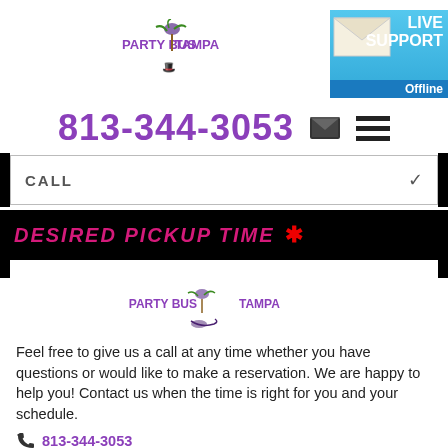[Figure (logo): Party Bus Tampa logo with palm tree icon in purple text]
[Figure (infographic): Live Support Offline button with envelope icon on blue background]
813-344-3053
CALL
DESIRED PICKUP TIME *
[Figure (logo): Party Bus Tampa logo with palm tree icon in purple text (footer)]
Feel free to give us a call at any time whether you have questions or would like to make a reservation. We are happy to help you! Contact us when the time is right for you and your schedule.
813-344-3053
info@partybustampa.com